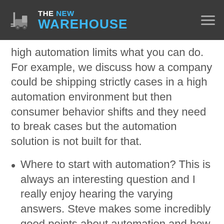[Figure (logo): The New Warehouse logo with forklift icon and blue/white text on dark background header bar]
high automation limits what you can do. For example, we discuss how a company could be shipping strictly cases in a high automation environment but then consumer behavior shifts and they need to break cases but the automation solution is not built for that.
Where to start with automation? This is always an interesting question and I really enjoy hearing the varying answers. Steve makes some incredibly good points about automation and how many people get caught up in automation being robots or conveyors